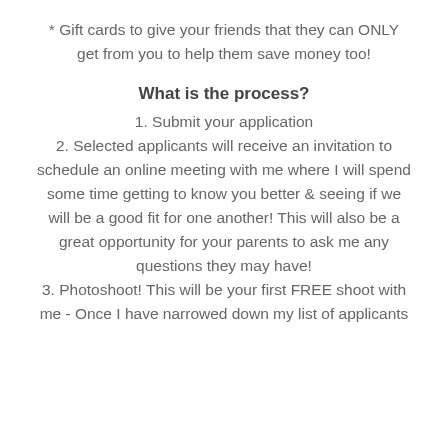* Gift cards to give your friends that they can ONLY get from you to help them save money too!
What is the process?
1. Submit your application
2. Selected applicants will receive an invitation to schedule an online meeting with me where I will spend some time getting to know you better & seeing if we will be a good fit for one another! This will also be a great opportunity for your parents to ask me any questions they may have!
3. Photoshoot! This will be your first FREE shoot with me - Once I have narrowed down my list of applicants